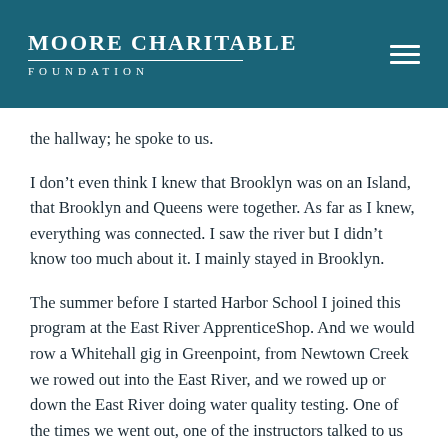Moore Charitable Foundation
the hallway; he spoke to us.
I don’t even think I knew that Brooklyn was on an Island, that Brooklyn and Queens were together. As far as I knew, everything was connected. I saw the river but I didn’t know too much about it. I mainly stayed in Brooklyn.
The summer before I started Harbor School I joined this program at the East River ApprenticeShop. And we would row a Whitehall gig in Greenpoint, from Newtown Creek we rowed out into the East River, and we rowed up or down the East River doing water quality testing. One of the times we went out, one of the instructors talked to us about the geography of New York — “That’s Manhattan, this is Queens” — and that was the first time I was like, “Oh, that’s